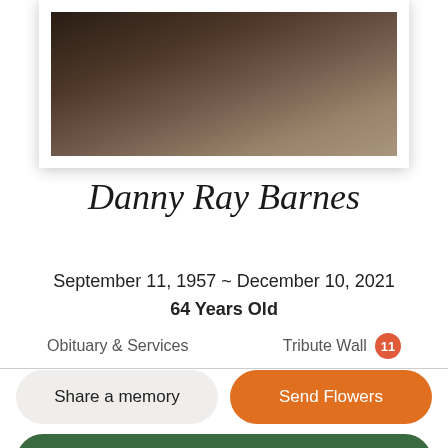[Figure (photo): Partial portrait photo of Danny Ray Barnes, shown from above, in a white frame mount, dark and warm tones.]
Danny Ray Barnes
September 11, 1957 ~ December 10, 2021
64 Years Old
Obituary & Services    Tribute Wall 11
Share a memory
Send Flowers
Plant a Tree